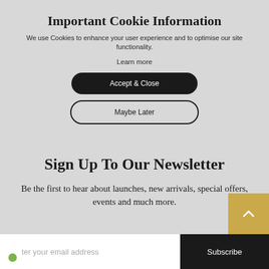Important Cookie Information
We use Cookies to enhance your user experience and to optimise our site functionality.
Learn more
Accept & Close
Maybe Later
Sign Up To Our Newsletter
Be the first to hear about launches, new arrivals, special offers, events and much more.
ter your email address
Subscribe